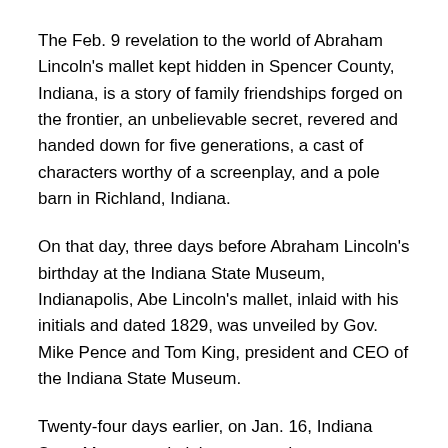The Feb. 9 revelation to the world of Abraham Lincoln's mallet kept hidden in Spencer County, Indiana, is a story of family friendships forged on the frontier, an unbelievable secret, revered and handed down for five generations, a cast of characters worthy of a screenplay, and a pole barn in Richland, Indiana.
On that day, three days before Abraham Lincoln's birthday at the Indiana State Museum, Indianapolis, Abe Lincoln's mallet, inlaid with his initials and dated 1829, was unveiled by Gov. Mike Pence and Tom King, president and CEO of the Indiana State Museum.
Twenty-four days earlier, on Jan. 16, Indiana State Museum administrators and curators Susannah Koerber, Beth Van Why, and R. Dale Ogden had traveled to Spencer County to the Richland, Indiana, home of Tom and Vicki Brauns, where nearly 30 people gathered in Brauns' appliance repair business office, known as the “Rock Shop.”